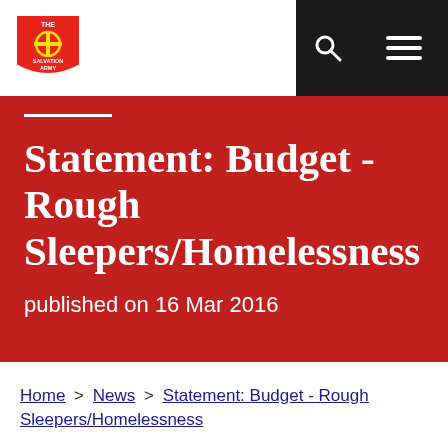The Salvation Army — navigation header with logo, search icon, and menu icon
Statement: Budget - Rough Sleepers/Homelessness
published on 16 Mar 2016
Home > News > Statement: Budget - Rough Sleepers/Homelessness